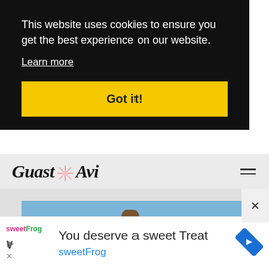This website uses cookies to ensure you get the best experience on our website.
Learn more
Got it!
[Figure (logo): Guast Avi logo with decorative star/flower between words, and hamburger menu icon]
[Figure (photo): Advertisement photo showing a person with long hair viewed from behind, standing in a field with a white house in background under blue sky]
You deserve a sweet Treat
sweetFrog